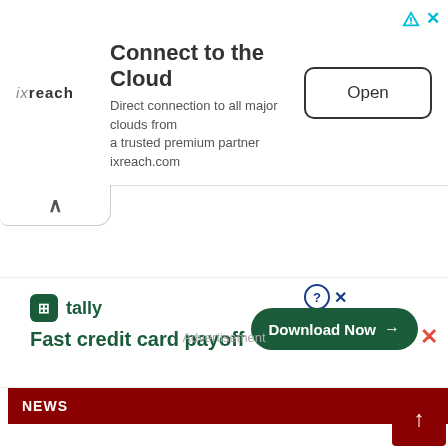[Figure (screenshot): Top advertisement banner for ixreach with logo, title 'Connect to the Cloud', subtitle text, and Open button]
[Figure (screenshot): Collapsed tab/chevron UI element with up arrow]
[Figure (screenshot): Bottom advertisement for Tally app with 'Fast credit card payoff' tagline and Download Now button]
Advertisement
[Figure (screenshot): Bottom navigation bar with NEWS badge and scroll-to-top button]